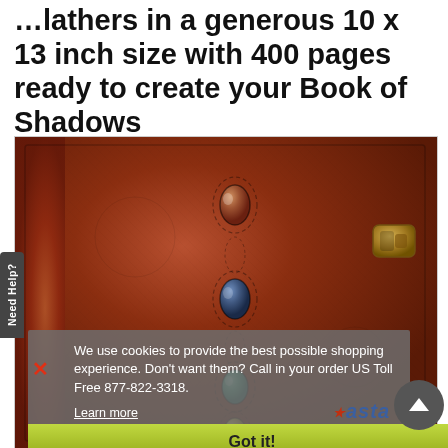...lathers in a generous 10 x 13 inch size with 400 pages ready to create your Book of Shadows
[Figure (photo): A dark brown leather-bound journal/book of shadows with three decorative gemstones (brown, blue, teal) set vertically on the cover with stitching, a brass/gold clasp latch on the right side, and a yellow stone near the bottom.]
We use cookies to provide the best possible shopping experience. Don't want them? Call in your order US Toll Free 877-822-3318.
Learn more
Got it!